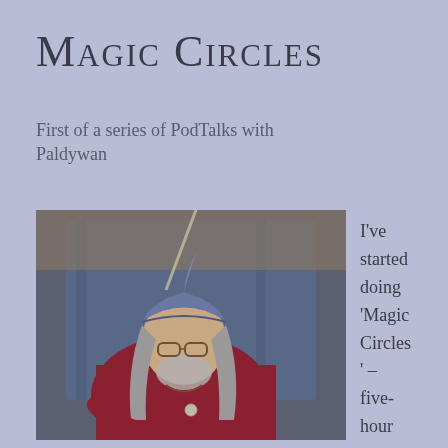Magic Circles
First of a series of PodTalks with Paldywan
[Figure (photo): An older man with long gray hair and a beard, wearing a knitted hat and dark red/maroon fleece jacket, seated in a folding chair with blue fabric backdrop, appears to be at an outdoor event.]
I've started doing 'Magic Circles' – five-hour